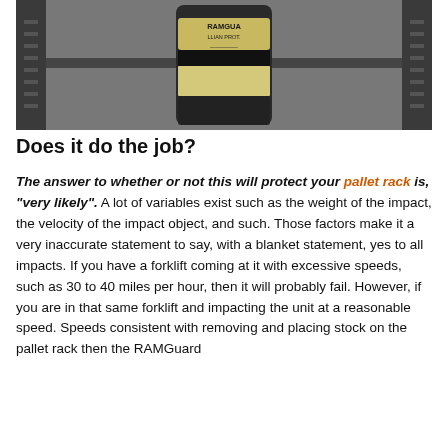[Figure (photo): Close-up photograph of a RAMGuard column protector mounted on a pallet rack upright, shown in black and white/grey tones. The protector is cylindrical with the RAMGUARD brand label visible.]
Does it do the job?
The answer to whether or not this will protect your pallet rack is, "very likely". A lot of variables exist such as the weight of the impact, the velocity of the impact object, and such. Those factors make it a very inaccurate statement to say, with a blanket statement, yes to all impacts. If you have a forklift coming at it with excessive speeds, such as 30 to 40 miles per hour, then it will probably fail. However, if you are in that same forklift and impacting the unit at a reasonable speed. Speeds consistent with removing and placing stock on the pallet rack then the RAMGuard